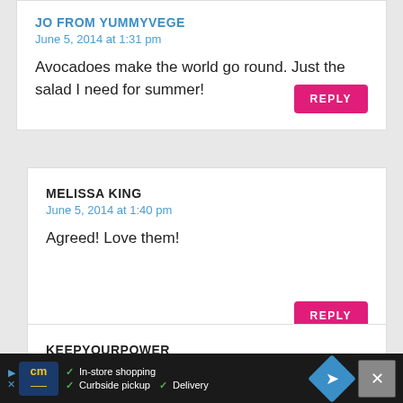JO FROM YUMMYVEGE
June 5, 2014 at 1:31 pm
Avocadoes make the world go round. Just the salad I need for summer!
REPLY
MELISSA KING
June 5, 2014 at 1:40 pm
Agreed! Love them!
REPLY
KEEPYOURPOWER
[Figure (screenshot): Advertisement bar at the bottom showing CM logo, in-store shopping, curbside pickup, delivery options, and a navigation diamond icon with close button]